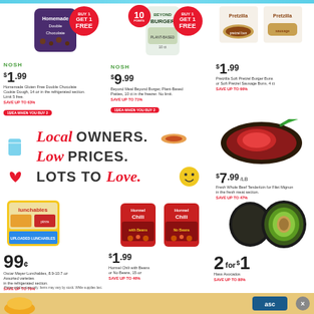[Figure (photo): Grocery store sale flyer with multiple product deals including NOSH cookies, Beyond Burger, Pretzilla buns, beef tenderloin, Lunchables, Hormel Chili, and avocados]
NOSH $1.99 Homemade Gluten Free Double Chocolate Cookie Dough, 14 oz in the refrigerated section. Limit 5 free. SAVE UP TO 63%. BUY 1 GET 1 FREE. 1$/EA WHEN YOU BUY 2
NOSH $9.99 Beyond Meal Beyond Burger Plant-Based Patties, 10 ct in the freezer. No limit. SAVE UP TO 71%. BUY 1 GET 1 FREE. 1$/EA WHEN YOU BUY 2
$1.99 Pretzilla Soft Pretzel Burger Buns or Soft Pretzel Sausage Buns, 4 ct SAVE UP TO 66%
[Figure (infographic): Local Owners. Low Prices. Lots to Love. promotional banner with decorative icons]
$7.99 /LB Fresh Whole Beef Tenderloin for Filet Mignon in the fresh meat section. SAVE UP TO 47%
99¢ Oscar Mayer Lunchables, 8.9-10.7 oz Assorted varieties in the refrigerated section. SAVE UP TO 76%
$1.99 Hormel Chili with Beans or No Beans, 15 oz SAVE UP TO 46%
2 for $1 Hass Avocados SAVE UP TO 80%
Prices valid in store only. Items may vary by stock. While supplies last.